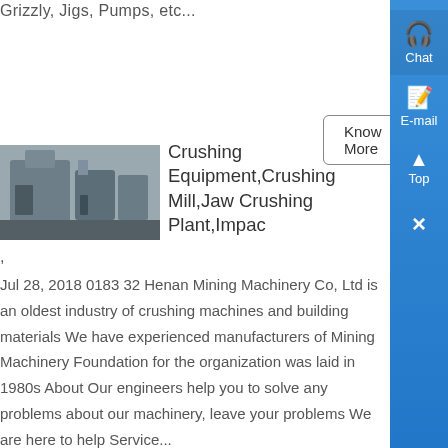Grizzly, Jigs, Pumps, etc...
Know More
[Figure (photo): Industrial crushing/milling equipment in a factory setting]
Crushing Equipment,Crushing Mill,Jaw Crushing Plant,Impac
,
Jul 28, 2018 0183 32 Henan Mining Machinery Co, Ltd is an oldest industry of crushing machines and building materials We have experienced manufacturers of Mining Machinery Foundation for the organization was laid in 1980s About Our engineers help you to solve any problems about our machinery, leave your problems We are here to help Service...
Chat
E-mail
Top